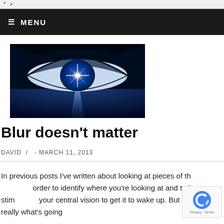" >
≡ MENU
[Figure (photo): Close-up artistic photo of a blue human eye with a bright star-burst light reflection in the pupil, reflected in water below]
Blur doesn't matter
DAVID  /  - MARCH 11, 2013
In previous posts I've written about looking at pieces of th... order to identify where you're looking at and to keep stim... your central vision to get it to wake up. But is that really what's going